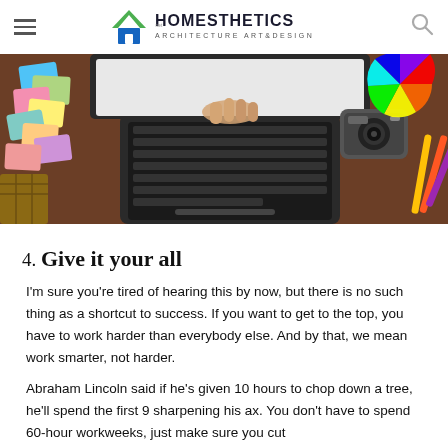Homesthetics — Architecture Art & Design
[Figure (photo): Overhead view of a designer's workspace with a laptop, colorful paint swatches, a camera, pencils, and a color wheel on a wooden desk]
4. Give it your all
I'm sure you're tired of hearing this by now, but there is no such thing as a shortcut to success. If you want to get to the top, you have to work harder than everybody else. And by that, we mean work smarter, not harder.
Abraham Lincoln said if he's given 10 hours to chop down a tree, he'll spend the first 9 sharpening his ax. You don't have to spend 60-hour workweeks, just make sure you cut